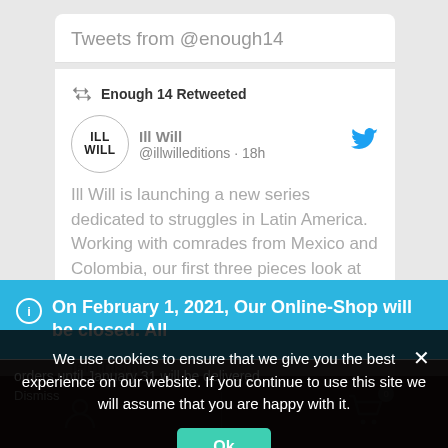Tweets from @enough14
Enough 14 Retweeted
Ill Will @illwilleditions · 18h
Ill Will is launching a new series dedicated to struggles in Latin America. Working with comrades from Mexico and Colombia, our first three pieces look at the critique of elections in Colombia, the destituent experiment in Chiapas, and new currents in anti-authoritarian feminism.
On February 1, 2021, Our Online-Shop will be closed. All orders until January 31 will be delivered
Dismiss
We use cookies to ensure that we give you the best experience on our website. If you continue to use this site we will assume that you are happy with it.
Ok